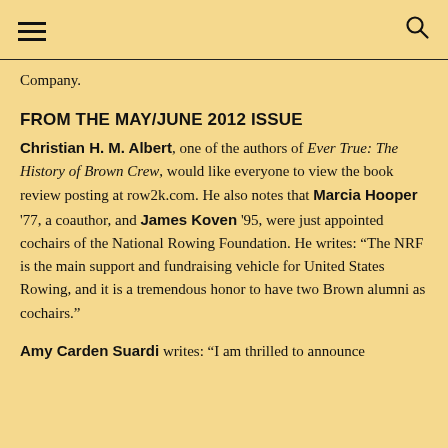Company.
FROM THE MAY/JUNE 2012 ISSUE
Christian H. M. Albert, one of the authors of Ever True: The History of Brown Crew, would like everyone to view the book review posting at row2k.com. He also notes that Marcia Hooper '77, a coauthor, and James Koven '95, were just appointed cochairs of the National Rowing Foundation. He writes: “The NRF is the main support and fundraising vehicle for United States Rowing, and it is a tremendous honor to have two Brown alumni as cochairs.”
Amy Carden Suardi writes: “I am thrilled to announce